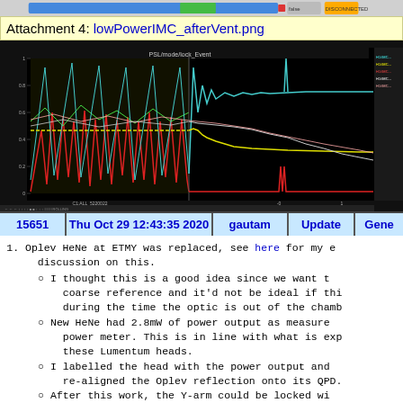[Figure (screenshot): Top partial screenshot of a web interface with colored buttons and status indicators]
Attachment 4: lowPowerIMC_afterVent.png
[Figure (continuous-plot): Multi-channel time-series plot on black background showing IMC power data with cyan, yellow, red, green, and pink traces over time. Right side has a legend panel.]
| 15651 | Thu Oct 29 12:43:35 2020 | gautam | Update | Gene |
| --- | --- | --- | --- | --- |
Oplev HeNe at ETMY was replaced, see here for my e discussion on this.
I thought this is a good idea since we want t coarse reference and it'd not be ideal if thi during the time the optic is out of the chamb
New HeNe had 2.8mW of power output as measure power meter. This is in line with what is exp these Lumentum heads.
I labelled the head with the power output and re-aligned the Oplev reflection onto its QPD.
After this work, the Y-arm could be locked wi angular fluctuations that was visible earlier
GTRY anomaly
I actually judged that there is no anomaly.
The GTRY CDS indicator is actually quite use